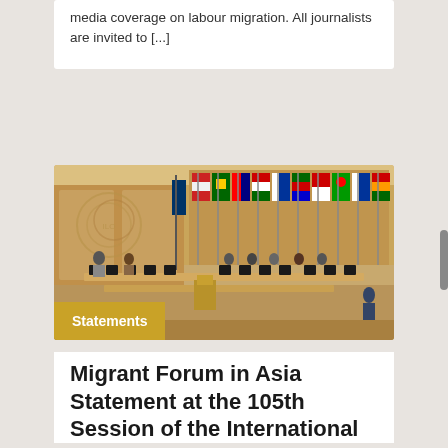media coverage on labour migration. All journalists are invited to [...]
[Figure (photo): Conference room with multiple national flags displayed, delegates seated at curved tables, speaker at podium, wood-paneled walls, with a 'Statements' label overlay in gold/yellow at bottom left.]
Statements
Migrant Forum in Asia Statement at the 105th Session of the International